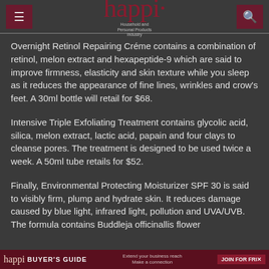happi — Household and Personal Products Industry
Overnight Retinol Repairing Créme contains a combination of retinol, melon extract and hexapeptide-9 which are said to improve firmness, elasticity and skin texture while you sleep as it reduces the appearance of fine lines, wrinkles and crow's feet. A 30ml bottle will retail for $68.
Intensive Triple Exfoliating Treatment contains glycolic acid, silica, melon extract, lactic acid, papain and four clays to cleanse pores. The treatment is designed to be used twice a week. A 50ml tube retails for $52.
Finally, Environmental Protecting Moisturizer SPF 30 is said to visibly firm, plump and hydrate skin. It reduces damage caused by blue light, infrared light, pollution and UVA/UVB. The formula contains Buddleja officinallis flower
happi BUYER'S GUIDE — Extend your business reach · Make a connection · JOIN FOR FREE